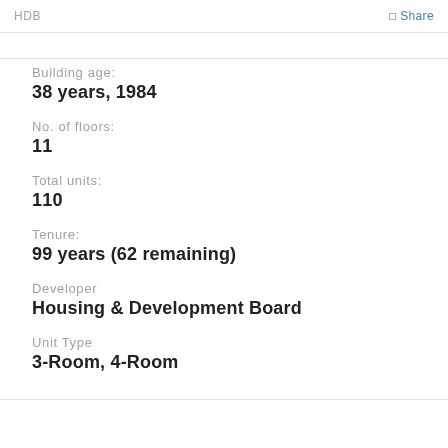HDB  Share
Building age:
38 years, 1984
No. of floors:
11
Total units:
110
Tenure:
99 years (62 remaining)
Developer
Housing & Development Board
Unit Type
3-Room, 4-Room